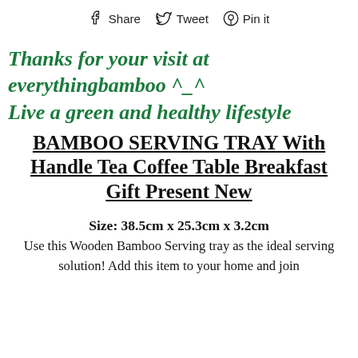Share  Tweet  Pin it
Thanks for your visit at everythingbamboo ^_^
Live a green and healthy lifestyle
BAMBOO SERVING TRAY With Handle Tea Coffee Table Breakfast Gift Present New
Size: 38.5cm x 25.3cm x 3.2cm
Use this Wooden Bamboo Serving tray as the ideal serving solution! Add this item to your home and join